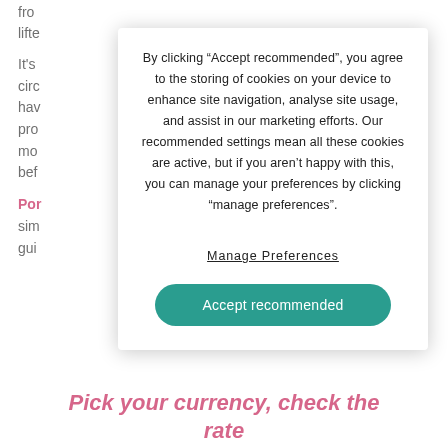fro
lifte
It's
circo
hav
pro
mo
bef
Pon
sim
gui
nal
rs
e.
[Figure (screenshot): Cookie consent modal overlay with text: By clicking “Accept recommended”, you agree to the storing of cookies on your device to enhance site navigation, analyse site usage, and assist in our marketing efforts. Our recommended settings mean all these cookies are active, but if you aren’t happy with this, you can manage your preferences by clicking “manage preferences”. Contains a 'Manage Preferences' underlined link and an 'Accept recommended' teal button.]
Pick your currency, check the rate